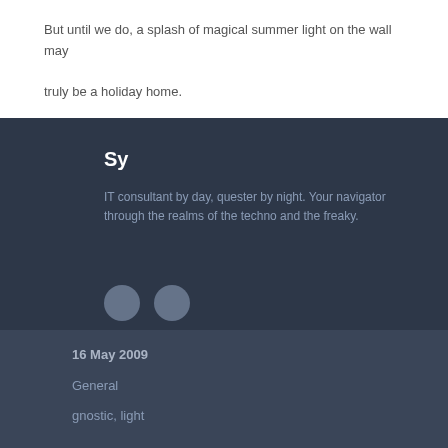But until we do, a splash of magical summer light on the wall may truly be a holiday home.
Sy
IT consultant by day, quester by night. Your navigator through the realms of the techno and the freaky.
[Figure (other): Two grey social media icon circles]
16 May 2009
General
gnostic, light